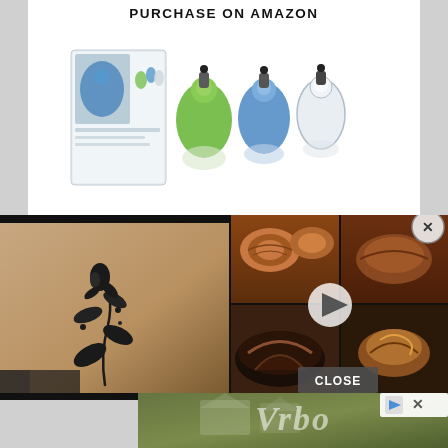PURCHASE ON AMAZON
[Figure (photo): Product photo of silicone travel bottles set with green, blue, and clear bottles with black cap clips, shown with retail box]
[Figure (screenshot): Screenshot of a website showing a tattoo photo on the left and a food video player on the right with pie/pastry images, with a CLOSE button overlay]
[Figure (photo): Vrbo advertisement banner with italic Vrbo logo text over blurred house background, with play and X icons]